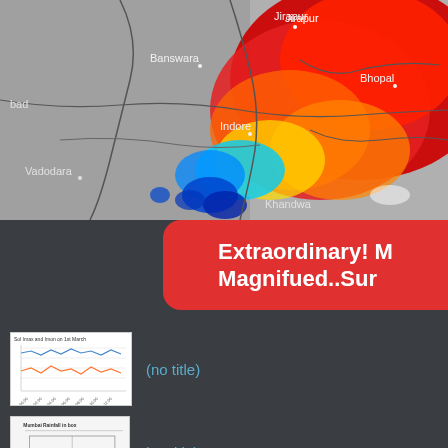[Figure (map): Weather radar/satellite map of central India showing storm system with color gradients from gray (no precipitation) through blue, cyan, yellow, orange to red (heavy precipitation). Cities labeled include Jirapur, Banswara, Bhopal, bad, Vadodara, Indore, Khandwa.]
Extraordinary! M Magnifued..Sur
[Figure (line-chart): Small thumbnail line chart showing temperature/pressure data over time on 1st March, with blue and orange lines.]
(no title)
[Figure (other): Small thumbnail showing Mumbai Rainfall data in box format.]
(no title)